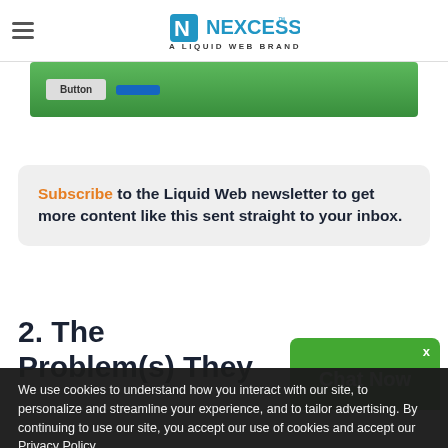NEXCESS — A LIQUID WEB BRAND
[Figure (screenshot): Green banner with two buttons visible at top of content area]
Subscribe to the Liquid Web newsletter to get more content like this sent straight to your inbox.
2. The Problem(s) They Have
[Figure (screenshot): Chat Now green widget popup in lower right corner with X close button]
We use cookies to understand how you interact with our site, to personalize and streamline your experience, and to tailor advertising. By continuing to use our site, you accept our use of cookies and accept our Privacy Policy.